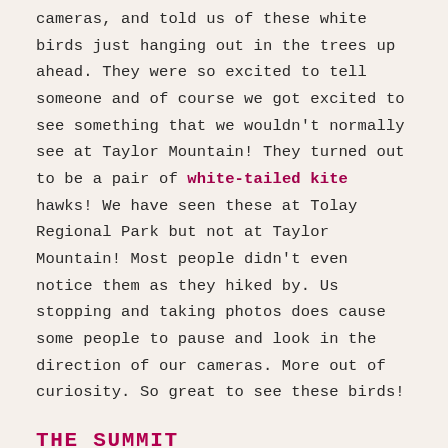cameras, and told us of these white birds just hanging out in the trees up ahead. They were so excited to tell someone and of course we got excited to see something that we wouldn't normally see at Taylor Mountain! They turned out to be a pair of white-tailed kite hawks! We have seen these at Tolay Regional Park but not at Taylor Mountain! Most people didn't even notice them as they hiked by. Us stopping and taking photos does cause some people to pause and look in the direction of our cameras. More out of curiosity. So great to see these birds!
THE SUMMIT
After enjoying our time with the white-tailed